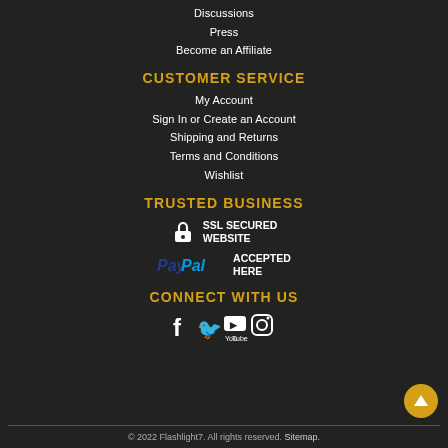Discussions
Press
Become an Affiliate
CUSTOMER SERVICE
My Account
Sign In or Create an Account
Shipping and Returns
Terms and Conditions
Wishlist
TRUSTED BUSINESS
[Figure (logo): SSL Secured Website badge with padlock icon and text SSL SECURED WEBSITE]
[Figure (logo): PayPal logo with text ACCEPTED HERE]
CONNECT WITH US
[Figure (other): Social media icons: Facebook, Twitter, YouTube, Instagram]
© 2022 Flashlight7. All rights reserved. Sitemap.